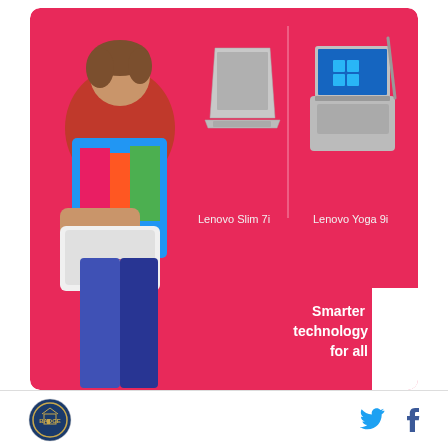[Figure (photo): Lenovo advertisement with pink/magenta background. A woman in colorful clothing holding a white laptop stands on the left. Two laptop products are shown: Lenovo Slim 7i and Lenovo Yoga 9i. Bottom right shows 'Smarter technology for all' with Lenovo logo badge in white.]
POWERED BY CONCERT   FEEDBACK
So much so, in fact, that Everton have yet to concede a single goal in their two matches so far this season, or
[Figure (logo): Circular logo at bottom left and Twitter/Facebook social icons at bottom right]